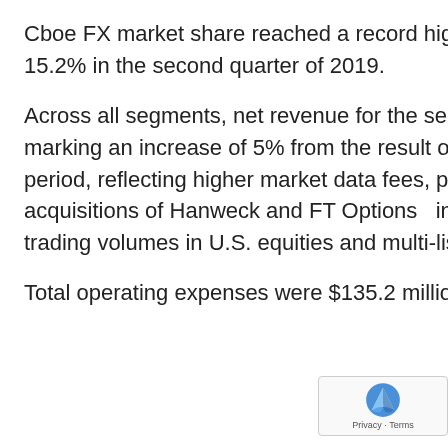Cboe FX market share reached a record high of 16.4% for the quarter compared to 15.2% in the second quarter of 2019.
Across all segments, net revenue for the second quarter of 2020 reached $296.9 million, marking an increase of 5% from the result of $283.2 million registered in the prior-year period, reflecting higher market data fees, primarily due to revenue contributed from the acquisitions of Hanweck and FT Options  in the first quarter of 2020, and record quarterly trading volumes in U.S. equities and multi-listed options.
Total operating expenses were $135.2 million